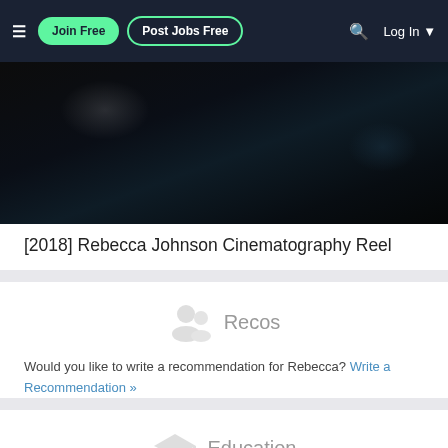Join Free | Post Jobs Free | Log In
[Figure (screenshot): Dark video thumbnail for [2018] Rebecca Johnson Cinematography Reel showing a nearly black frame with subtle blue-grey gradient]
[2018] Rebecca Johnson Cinematography Reel
Recos
Would you like to write a recommendation for Rebecca? Write a Recommendation »
Education